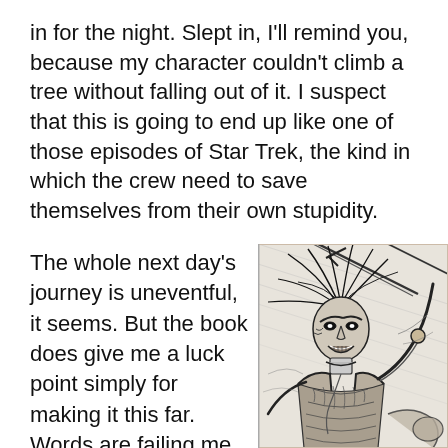in for the night. Slept in, I'll remind you, because my character couldn't climb a tree without falling out of it. I suspect that this is going to end up like one of those episodes of Star Trek, the kind in which the crew need to save themselves from their own stupidity.
The whole next day's journey is uneventful, it seems. But the book does give me a luck point simply for making it this far. Words are failing me at
[Figure (illustration): A black and white pen illustration of a wild, fierce warrior figure with wild hair, wearing fur/armor, wielding a weapon, depicted in a dramatic action pose against a stormy background.]